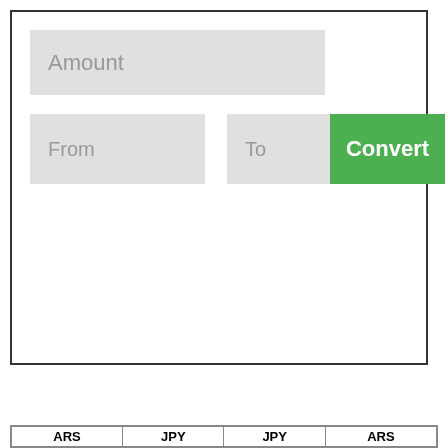[Figure (screenshot): Currency converter UI with Amount input field, From and To dropdown fields, and a green Convert button inside a bordered box]
ARS to JPY conversion table
| ARS | JPY | JPY | ARS |
| --- | --- | --- | --- |